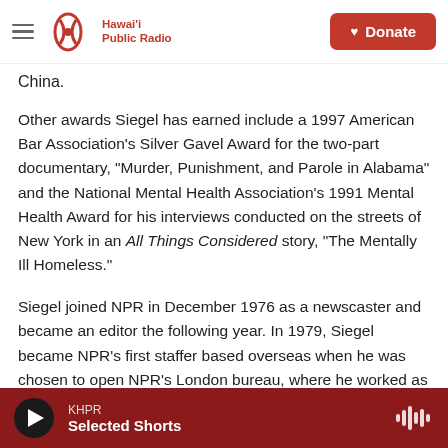Hawai'i Public Radio — Donate
China.
Other awards Siegel has earned include a 1997 American Bar Association's Silver Gavel Award for the two-part documentary, "Murder, Punishment, and Parole in Alabama" and the National Mental Health Association's 1991 Mental Health Award for his interviews conducted on the streets of New York in an All Things Considered story, "The Mentally Ill Homeless."
Siegel joined NPR in December 1976 as a newscaster and became an editor the following year. In 1979, Siegel became NPR's first staffer based overseas when he was chosen to open NPR's London bureau, where he worked as senior editor until 1983. After London, Siegel served for
KHPR — Selected Shorts